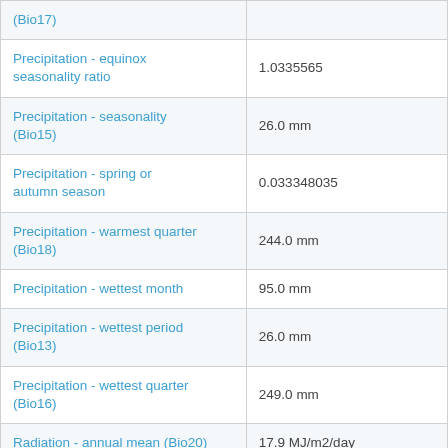| Variable | Value |
| --- | --- |
| (Bio17) |  |
| Precipitation - equinox seasonality ratio | 1.0335565 |
| Precipitation - seasonality (Bio15) | 26.0 mm |
| Precipitation - spring or autumn season | 0.033348035 |
| Precipitation - warmest quarter (Bio18) | 244.0 mm |
| Precipitation - wettest month | 95.0 mm |
| Precipitation - wettest period (Bio13) | 26.0 mm |
| Precipitation - wettest quarter (Bio16) | 249.0 mm |
| Radiation - annual mean (Bio20) | 17.9 MJ/m2/day |
| Radiation - seasonality (Bio23) | 31.0 |
| Radiation - warmest quarter | 23.7 MJ/m2/day |